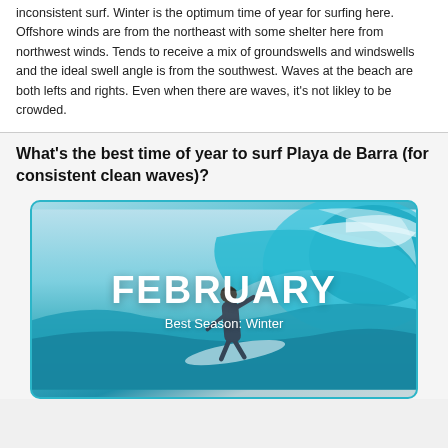inconsistent surf. Winter is the optimum time of year for surfing here. Offshore winds are from the northeast with some shelter here from northwest winds. Tends to receive a mix of groundswells and windswells and the ideal swell angle is from the southwest. Waves at the beach are both lefts and rights. Even when there are waves, it's not likley to be crowded.
What's the best time of year to surf Playa de Barra (for consistent clean waves)?
[Figure (photo): Surfer riding a turquoise wave with text overlay reading FEBRUARY and Best Season: Winter]